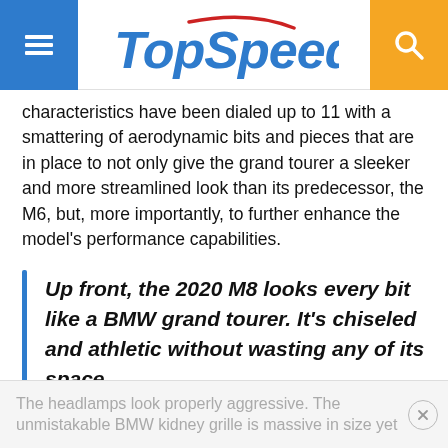TopSpeed
characteristics have been dialed up to 11 with a smattering of aerodynamic bits and pieces that are in place to not only give the grand tourer a sleeker and more streamlined look than its predecessor, the M6, but, more importantly, to further enhance the model's performance capabilities.
Up front, the 2020 M8 looks every bit like a BMW grand tourer. It's chiseled and athletic without wasting any of its space.
The headlamps look properly aggressive. The unmistakable BMW kidney grille is massive in size yet